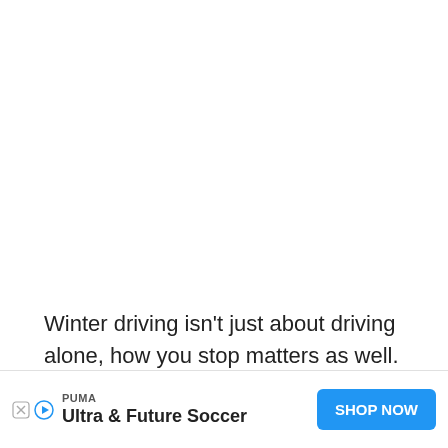Winter driving isn't just about driving alone, how you stop matters as well.
The C...ies aimed...n wet
[Figure (other): Advertisement banner: PUMA brand, 'Ultra & Future Soccer', with 'SHOP NOW' blue button, ad close/play icons]